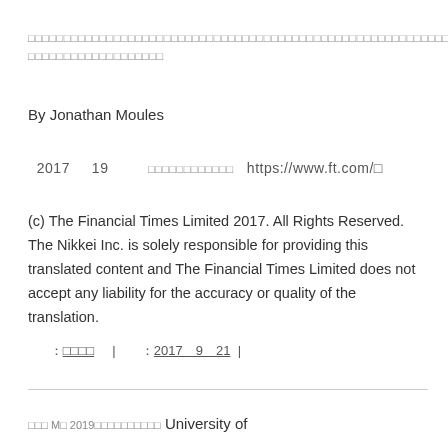（Japanese characters — article title/description in Japanese）
By Jonathan Moules
2017　　19　　（Japanese characters）　https://www.ft.com/（character）
(c) The Financial Times Limited 2017. All Rights Reserved. The Nikkei Inc. is solely responsible for providing this translated content and The Financial Times Limited does not accept any liability for the accuracy or quality of the translation.
：（Japanese underlined）　|　　：2017＿9＿21　|
（Japanese characters）University of（partial）